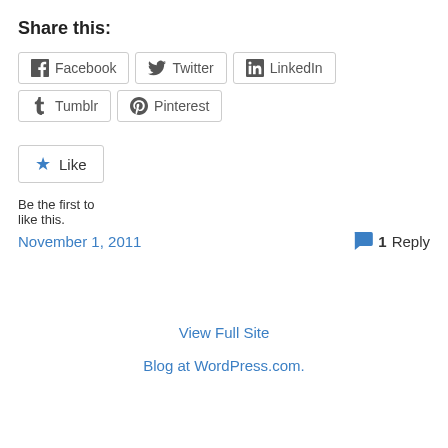Share this:
Facebook  Twitter  LinkedIn  Tumblr  Pinterest
Like
Be the first to like this.
November 1, 2011
1 Reply
View Full Site
Blog at WordPress.com.